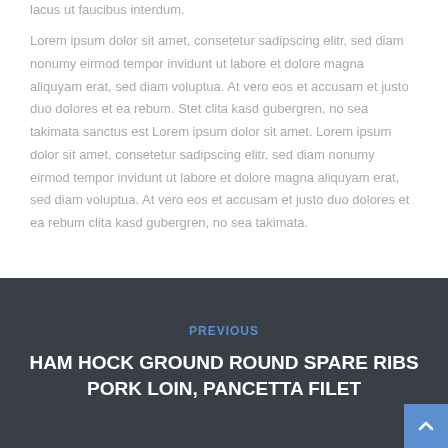lacus ut faucibus interdum.
Lorem ipsum dolor sit amet, consetetur sadipscing elitr, sed diam nonumy eirmod tempor invidunt ut labore et dolore magna aliquyam erat, sed diam voluptua. At vero eos et accusam et justo duo dolores et ea rebum. Stet clita kasd gubergren, no sea takimata sanctus est Lorem ipsum dolor sit amet. Lorem ipsum dolor sit amet, consetetur sadipscing elitr, sed diam nonumy eirmod tempor invidunt ut labore et dolore magna aliquyam erat, sed diam voluptua. At vero eos et accusam et justo duo dolores et ea rebum clita kasd gubergren, no sea takimata.
PREVIOUS
HAM HOCK GROUND ROUND SPARE RIBS PORK LOIN, PANCETTA FILET